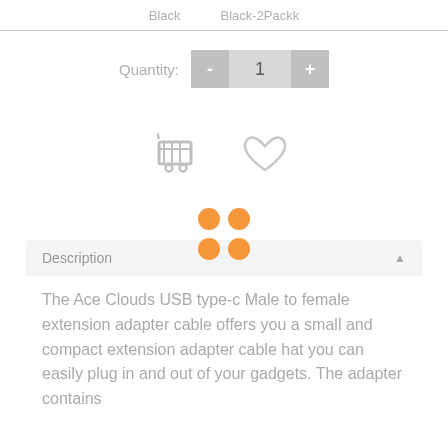Black   Black-2Packk
Quantity: - 1 +
[Figure (illustration): Shopping cart icon and heart/wishlist icon]
[Figure (illustration): Four orange dots arranged in a 2x2 grid (drag handle icon)]
Description
The Ace Clouds USB type-c Male to female extension adapter cable offers you a small and compact extension adapter cable hat you can easily plug in and out of your gadgets. The adapter contains